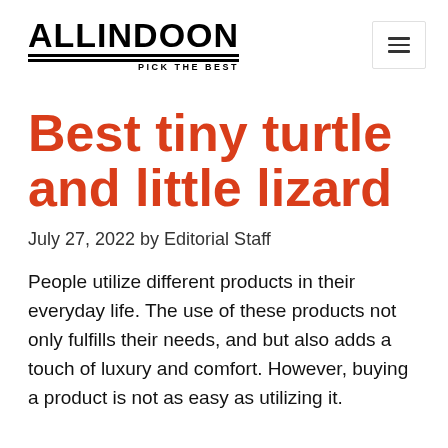ALLINDOON PICK THE BEST
Best tiny turtle and little lizard
July 27, 2022 by Editorial Staff
People utilize different products in their everyday life. The use of these products not only fulfills their needs, and but also adds a touch of luxury and comfort. However, buying a product is not as easy as utilizing it.